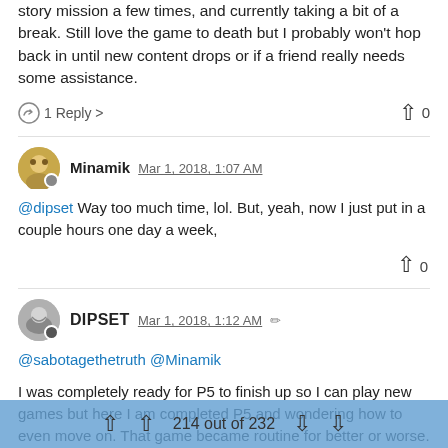story mission a few times, and currently taking a bit of a break. Still love the game to death but I probably won't hop back in until new content drops or if a friend really needs some assistance.
1 Reply >  ▲ 0
Minamik Mar 1, 2018, 1:07 AM
@dipset Way too much time, lol. But, yeah, now I just put in a couple hours one day a week,
▲ 0
DIPSET Mar 1, 2018, 1:12 AM
@sabotagethetruth @Minamik
I was completely ready for P5 to finish up so I can play new games but here I am completed P5 and wondering how to even move on. That game became routine for better or worse. I'm kinda worried about pouring that much time into another game. I think I may do the story in MH, play with friends a few times, then check out. Don't think I have another 100h to put towards that again in my life.
214 out of 232